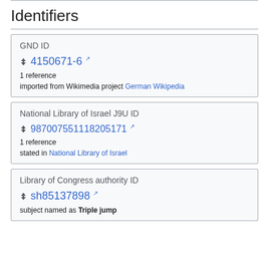Identifiers
| GND ID |
| --- |
| 4150671-6 |
| 1 reference |
| imported from Wikimedia project German Wikipedia |
| National Library of Israel J9U ID |
| --- |
| 987007551118205171 |
| 1 reference |
| stated in National Library of Israel |
| Library of Congress authority ID |
| --- |
| sh85137898 |
| subject named as Triple jump |